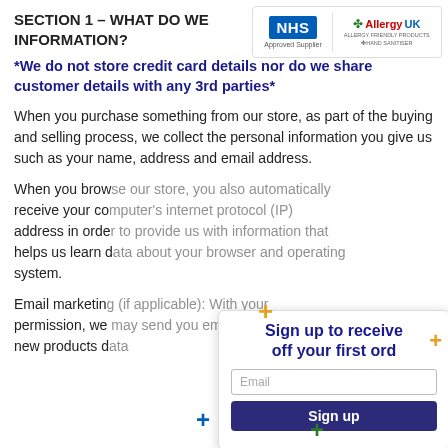SECTION 1 – WHAT DO WE ... OF INFORMATION?
[Figure (logo): NHS Approved Supplier logo and Allergy UK logo side by side in a white rounded box]
*We do not store credit card details nor do we share customer details with any 3rd parties*
When you purchase something from our store, as part of the buying and selling process, we collect the personal information you give us such as your name, address and email address.
When you brow... receive your co... address in orde... helps us learn d... system.
Email marketin... permission, we... new products d...
[Figure (infographic): Sign up popup overlay with title 'Sign up to receive off your first ord...', email input field, and Sign up button]